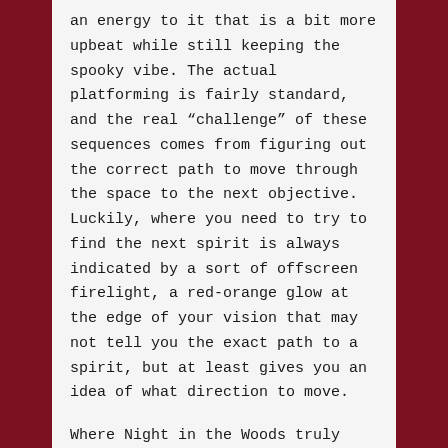an energy to it that is a bit more upbeat while still keeping the spooky vibe. The actual platforming is fairly standard, and the real “challenge” of these sequences comes from figuring out the correct path to move through the space to the next objective. Luckily, where you need to try to find the next spirit is always indicated by a sort of offscreen firelight, a red-orange glow at the edge of your vision that may not tell you the exact path to a spirit, but at least gives you an idea of what direction to move.
Where Night in the Woods truly shines is in the character writing, the subtle jokes and the philosophical musings that